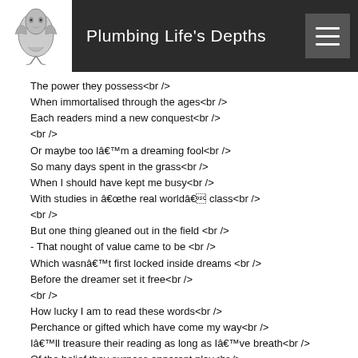Plumbing Life's Depths
The power they possess<br />
When immortalised through the ages<br />
Each readers mind a new conquest<br />
<br />
Or maybe too lâ€™m a dreaming fool<br />
So many days spent in the grass<br />
When I should have kept me busy<br />
With studies in â€œthe real worldâ€ class<br />
<br />
But one thing gleaned out in the field <br />
- That nought of value came to be <br />
Which wasnâ€™t first locked inside dreams <br />
Before the dreamer set it free<br />
<br />
How lucky I am to read these words<br />
Perchance or gifted which have come my way<br />
Iâ€™ll treasure their reading as long as Iâ€™ve breath<br />
Of the belief they surpass apparent play<br />
<br />
And should destiny hold in her hand<br />